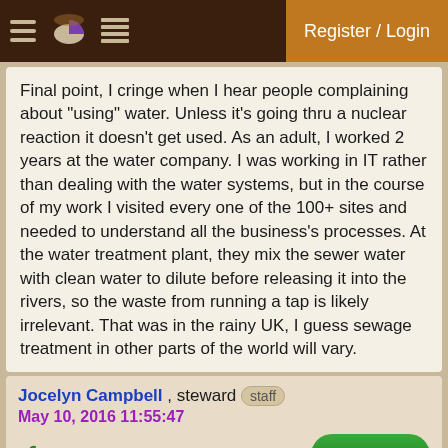Register / Login
Final point, I cringe when I hear people complaining about "using" water. Unless it's going thru a nuclear reaction it doesn't get used. As an adult, I worked 2 years at the water company. I was working in IT rather than dealing with the water systems, but in the course of my work I visited every one of the 100+ sites and needed to understand all the business's processes. At the water treatment plant, they mix the sewer water with clean water to dilute before releasing it into the rivers, so the waste from running a tap is likely irrelevant. That was in the rainy UK, I guess sewage treatment in other parts of the world will vary.
Jocelyn Campbell , steward [staff]
May 10, 2016 11:55:47
(1 apple)  2
+Pie